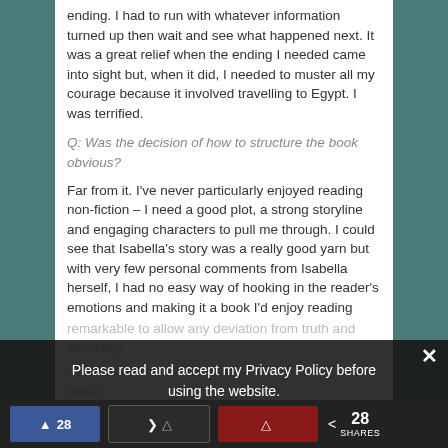ending. I had to run with whatever information turned up then wait and see what happened next. It was a great relief when the ending I needed came into sight but, when it did, I needed to muster all my courage because it involved travelling to Egypt. I was terrified.
Q: Was the decision of how to structure the book obvious?
Far from it. I've never particularly enjoyed reading non-fiction – I need a good plot, a strong storyline and engaging characters to pull me through. I could see that Isabella's story was a really good yarn but with very few personal comments from Isabella herself, I had no easy way of hooking in the reader's emotions and making it a book I'd enjoy reading myself. It took a lot of trial and error to develop a structure which combined my aim of writing a good read with my equally fierce conviction that the story was far too remarkable to allow any deviation from truth and accuracy.
Please read and accept my Privacy Policy before using the website.
Privacy Preferences